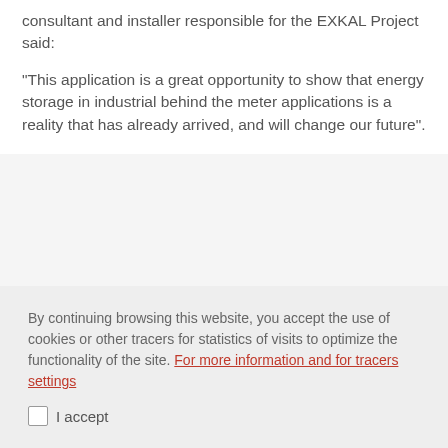consultant and installer responsible for the EXKAL Project said:
"This application is a great opportunity to show that energy storage in industrial behind the meter applications is a reality that has already arrived, and will change our future".
By continuing browsing this website, you accept the use of cookies or other tracers for statistics of visits to optimize the functionality of the site. For more information and for tracers settings
I accept